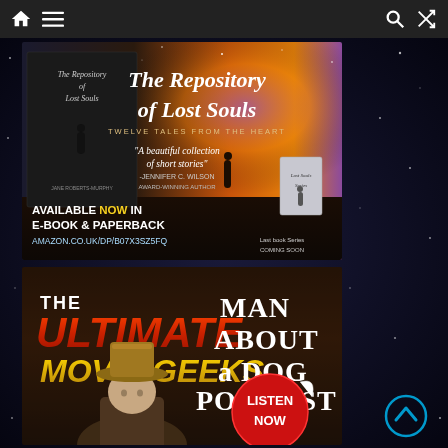Navigation bar with home, menu, search, and shuffle icons
[Figure (illustration): Advertisement for 'The Repository of Lost Souls' book. Shows book cover with dark sky background and silhouette figure. Text: 'The Repository of Lost Souls', 'TWELVE TALES FROM THE HEART', 'A beautiful collection of short stories', 'JENNIFER C. WILSON', 'AVAILABLE NOW IN E-BOOK & PAPERBACK', 'AMAZON.CO.UK/DP/B07X3SZ5FQ', 'Last book series COMING SOON']
[Figure (illustration): Advertisement for 'The Ultimate Movie Geeks Man About a Dog Podcast'. Features Indiana Jones-style design with red/gold lettering. Shows person in hat. Red sticker says 'LISTEN NOW'.]